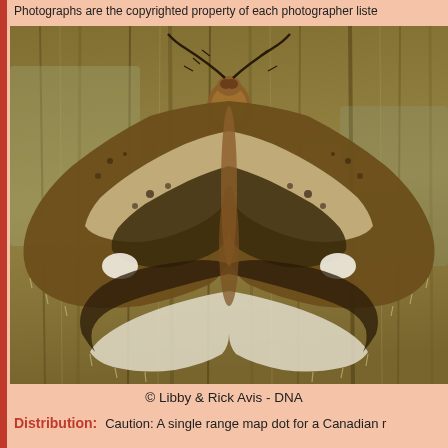Photographs are the copyrighted property of each photographer liste
[Figure (photo): A moth with brown, white and black patterned wings resting on wood bark, photographed by Libby & Rick Avis - DNA]
© Libby & Rick Avis - DNA
Distribution: Caution: A single range map dot for a Canadian r...